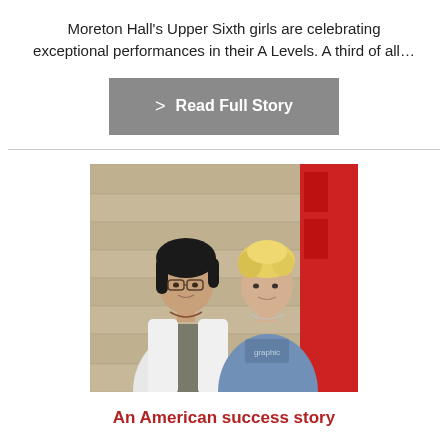Moreton Hall's Upper Sixth girls are celebrating exceptional performances in their A Levels. A third of all…
> Read Full Story
[Figure (photo): Two teenage boys standing in front of a stone building with a red door. The boy on the left has dark hair and glasses wearing a grey hoodie, the boy on the right has blonde hair wearing a blue t-shirt.]
An American success story